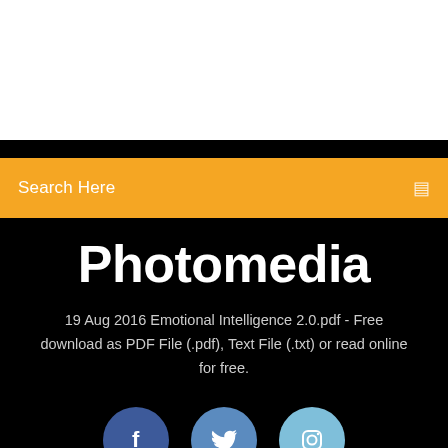[Figure (screenshot): White top section of a webpage]
Search Here
Photomedia
19 Aug 2016 Emotional Intelligence 2.0.pdf - Free download as PDF File (.pdf), Text File (.txt) or read online for free.
[Figure (illustration): Social media icons: Facebook (blue circle with f), Twitter (blue circle with bird), Instagram (light blue circle with camera icon)]